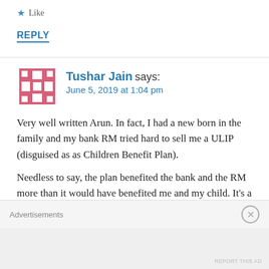★ Like
REPLY
Tushar Jain says:
June 5, 2019 at 1:04 pm
Very well written Arun. In fact, I had a new born in the family and my bank RM tried hard to sell me a ULIP (disguised as as Children Benefit Plan).
Needless to say, the plan benefited the bank and the RM more than it would have benefited me and my child. It's a sad state that we are not being responsible with our money and such people take us for a ride.
Advertisements